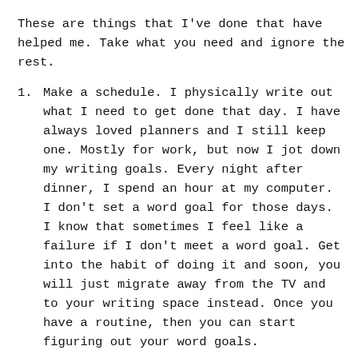These are things that I've done that have helped me. Take what you need and ignore the rest.
Make a schedule. I physically write out what I need to get done that day. I have always loved planners and I still keep one. Mostly for work, but now I jot down my writing goals. Every night after dinner, I spend an hour at my computer. I don't set a word goal for those days. I know that sometimes I feel like a failure if I don't meet a word goal. Get into the habit of doing it and soon, you will just migrate away from the TV and to your writing space instead. Once you have a routine, then you can start figuring out your word goals.
I stick to the schedule. It would be so easy to come up with an excuse why I can't write. I spent all day teaching kids on the computer, I can't stare